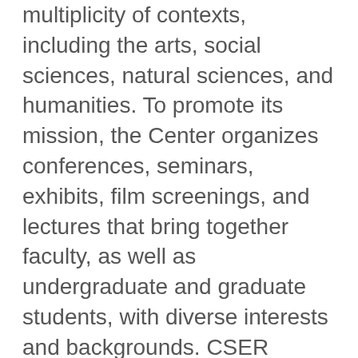multiplicity of contexts, including the arts, social sciences, natural sciences, and humanities. To promote its mission, the Center organizes conferences, seminars, exhibits, film screenings, and lectures that bring together faculty, as well as undergraduate and graduate students, with diverse interests and backgrounds. CSER partners with departments, centers, and institutes at Columbia and works with colleagues and organizations on and off campus to facilitate an exchange of knowledge. More information at www.columbia.edu/cu/cser